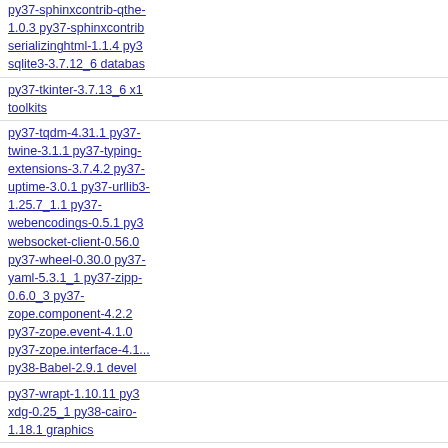py37-sphinxcontrib-qthelp-1.0.3 py37-sphinxcontrib-serializinghtml-1.1.4 py37-sqlite3-3.7.12_6 databases
py37-tkinter-3.7.13_6 x11-toolkits
py37-tqdm-4.31.1 py37-twine-3.1.1 py37-typing-extensions-3.7.4.2 py37-uptime-3.0.1 py37-urllib3-1.25.7_1.1 py37-webencodings-0.5.1 py37-websocket-client-0.56.0 py37-wheel-0.30.0 py37-yaml-5.3.1_1 py37-zipp-0.6.0_3 py37-zope.component-4.2.2 py37-zope.event-4.1.0 py37-zope.interface-4.1... py38-Babel-2.9.1 devel
py37-wrapt-1.10.11 py37-xdg-0.25_1 py38-cairo-1.18.1 graphics
py38-typogrify-2.0.7 textproc
python27-2.7.18_1 lang
rrdtool-1.7.2 databases
rsync-3.2.4 net
ruby30-gems-3.0.8 rust-1.55.0 lang
rubygem-asciidoctor-2.0... textproc
runci...